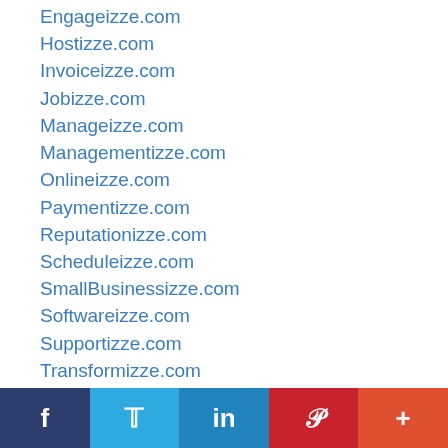Engageizze.com
Hostizze.com
Invoiceizze.com
Jobizze.com
Manageizze.com
Managementizze.com
Onlineizze.com
Paymentizze.com
Reputationizze.com
Scheduleizze.com
SmallBusinessizze.com
Softwareizze.com
Supportizze.com
Transformizze.com
Trializze.com
Tripizze.com
Websiteizze.com